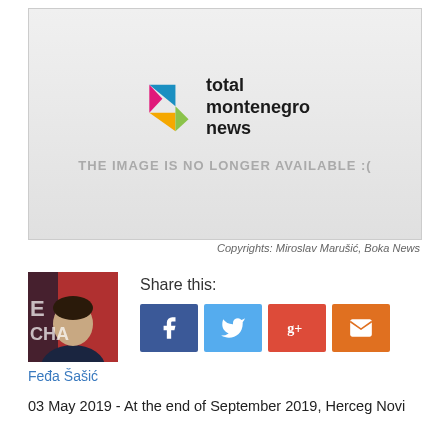[Figure (other): Total Montenegro News logo with placeholder text 'THE IMAGE IS NO LONGER AVAILABLE :(' on a grey gradient background]
Copyrights: Miroslav Marušić, Boka News
[Figure (photo): Author photo of Feđa Šašić — a man in a dark shirt against a red background]
Share this:
Feđa Šašić
03 May 2019 - At the end of September 2019, Herceg Novi would be...